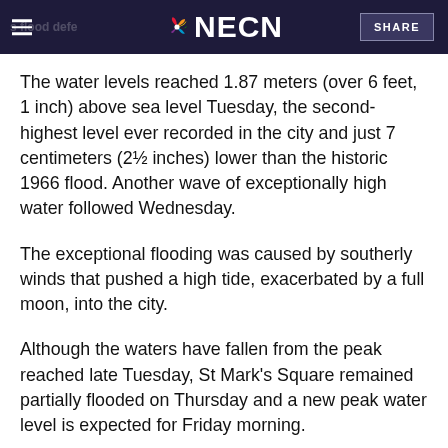NECN
The water levels reached 1.87 meters (over 6 feet, 1 inch) above sea level Tuesday, the second-highest level ever recorded in the city and just 7 centimeters (2½ inches) lower than the historic 1966 flood. Another wave of exceptionally high water followed Wednesday.
The exceptional flooding was caused by southerly winds that pushed a high tide, exacerbated by a full moon, into the city.
Although the waters have fallen from the peak reached late Tuesday, St Mark's Square remained partially flooded on Thursday and a new peak water level is expected for Friday morning.